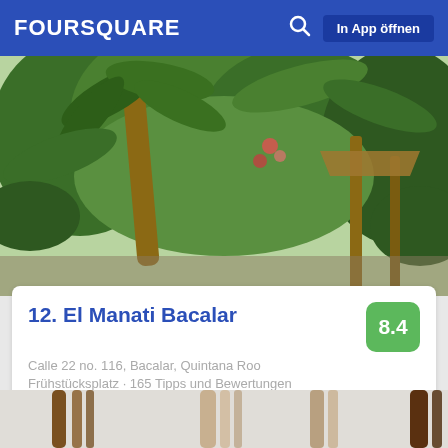FOURSQUARE   In App öffnen
[Figure (photo): Outdoor garden/patio area with lush tropical greenery, palm tree, and a wooden umbrella-style shade structure]
12. El Manati Bacalar
8.4
Calle 22 no. 116, Bacalar, Quintana Roo
Frühstücksplatz · 165 Tipps und Bewertungen
Juan Antonio Sanchez: Great patio setting, friendly staff, relaxed feel and fresh ingredients
[Figure (photo): Bottom strip showing partial view of bamboo or wooden sticks/poles]